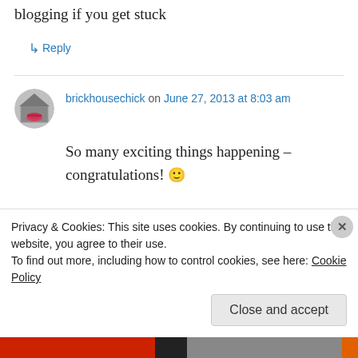blogging if you get stuck
↳ Reply
brickhousechick on June 27, 2013 at 8:03 am
So many exciting things happening – congratulations! 🙂
↳ Reply
Privacy & Cookies: This site uses cookies. By continuing to use this website, you agree to their use.
To find out more, including how to control cookies, see here: Cookie Policy
Close and accept